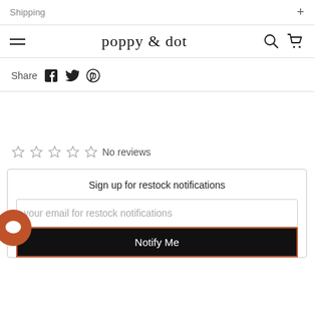Shipping +
poppy & dot
Share
No reviews
Sign up for restock notifications
your email for restock notifications
Notify Me